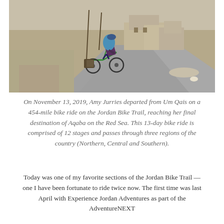[Figure (photo): A cyclist with a blue backpack and helmet rides a green mountain bike loaded with panniers along a paved road through an arid, rocky landscape with stone buildings in the background.]
On November 13, 2019, Amy Jurries departed from Um Qais on a 454-mile bike ride on the Jordan Bike Trail, reaching her final destination of Aqaba on the Red Sea. This 13-day bike ride is comprised of 12 stages and passes through three regions of the country (Northern, Central and Southern).
Today was one of my favorite sections of the Jordan Bike Trail — one I have been fortunate to ride twice now. The first time was last April with Experience Jordan Adventures as part of the AdventureNEXT